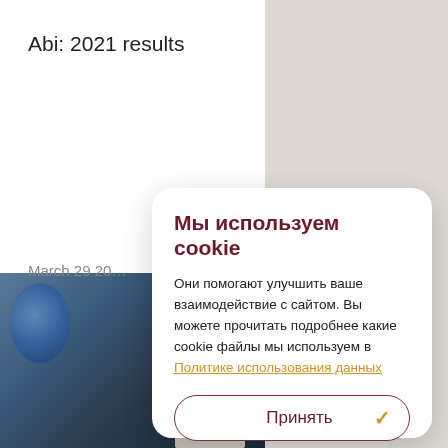Abi: 2021 results
March 29 20…
[Figure (photo): Partially visible photo of a person in dark clothing, cropped at lower left of page]
Мы используем cookie
Они помогают улучшить ваше взаимодействие с сайтом. Вы можете прочитать подробнее какие cookie файлы мы используем в Политике использования данных
Принять